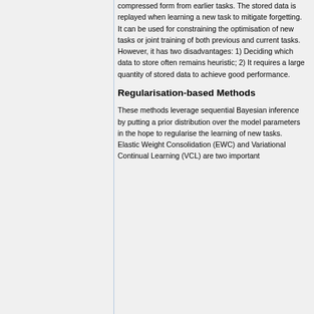compressed form from earlier tasks. The stored data is replayed when learning a new task to mitigate forgetting. It can be used for constraining the optimisation of new tasks or joint training of both previous and current tasks. However, it has two disadvantages: 1) Deciding which data to store often remains heuristic; 2) It requires a large quantity of stored data to achieve good performance.
Regularisation-based Methods
These methods leverage sequential Bayesian inference by putting a prior distribution over the model parameters in the hope to regularise the learning of new tasks. Elastic Weight Consolidation (EWC) and Variational Continual Learning (VCL) are two important